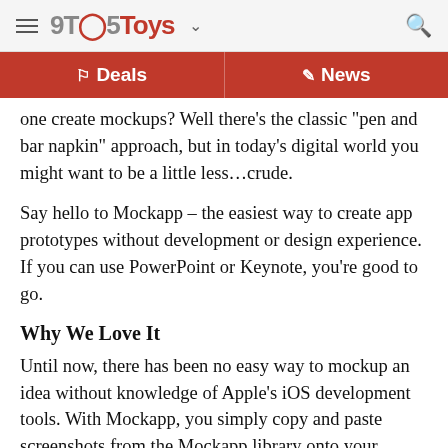9TO5Toys
Deals | News
one create mockups? Well there’s the classic “pen and bar napkin” approach, but in today’s digital world you might want to be a little less…crude.
Say hello to Mockapp – the easiest way to create app prototypes without development or design experience. If you can use PowerPoint or Keynote, you’re good to go.
Why We Love It
Until now, there has been no easy way to mockup an idea without knowledge of Apple’s iOS development tools. With Mockapp, you simply copy and paste screenshots from the Mockapp library onto your canvas (a PowerPoint or Keynote presentation) – simple!
Don’t waste time and money on a developer or designer to